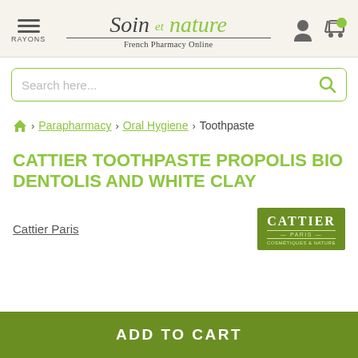[Figure (logo): Soin et nature French Pharmacy Online logo with hamburger menu and RAYONS label on left, user and cart icons on right]
Search here...
Parapharmacy > Oral Hygiene > Toothpaste
CATTIER TOOTHPASTE Propolis BIO DENTOLIS AND WHITE CLAY
Cattier Paris
[Figure (logo): Cattier Paris brand logo - green background with white text]
ADD TO CART